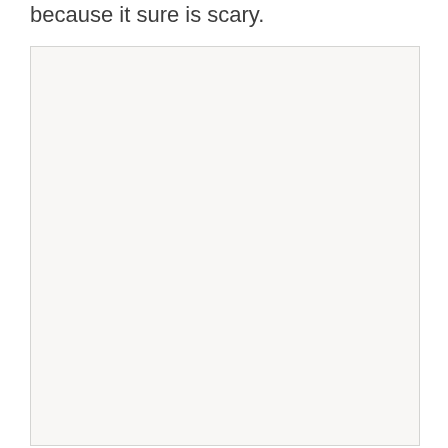because it sure is scary.
[Figure (other): A large light-colored rectangular box with a pale off-white/beige background and light gray border, taking up most of the lower portion of the page. The interior is empty.]